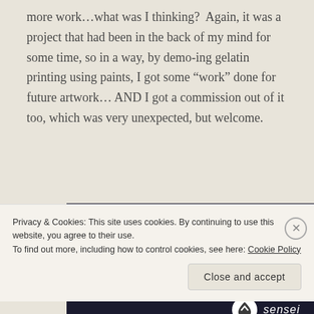more work…what was I thinking?  Again, it was a project that had been in the back of my mind for some time, so in a way, by demo-ing gelatin printing using paints, I got some “work” done for future artwork… AND I got a commission out of it too, which was very unexpected, but welcome.
[Figure (screenshot): Dark advertisement banner for an online course with teal 'online course' heading text and a teal 'Learn More' button. Sensei logo visible in bottom right.]
Privacy & Cookies: This site uses cookies. By continuing to use this website, you agree to their use.
To find out more, including how to control cookies, see here: Cookie Policy
Close and accept